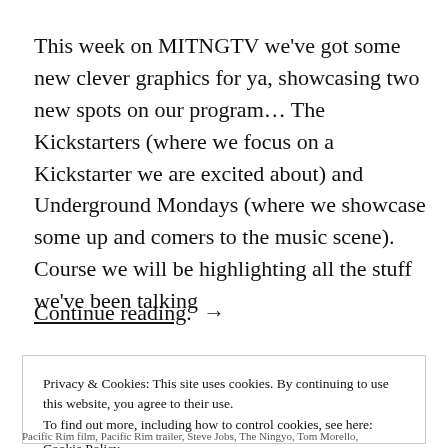This week on MITNGTV we've got some new clever graphics for ya, showcasing two new spots on our program… The Kickstarters (where we focus on a Kickstarter we are excited about) and Underground Mondays (where we showcase some up and comers to the music scene). Course we will be highlighting all the stuff we've been talking
Continue reading  →
Privacy & Cookies: This site uses cookies. By continuing to use this website, you agree to their use.
To find out more, including how to control cookies, see here:
Cookie Policy
Close and accept
Pacific Rim film, Pacific Rim trailer, Steve Jobs, The Ningyo, Tom Morello,